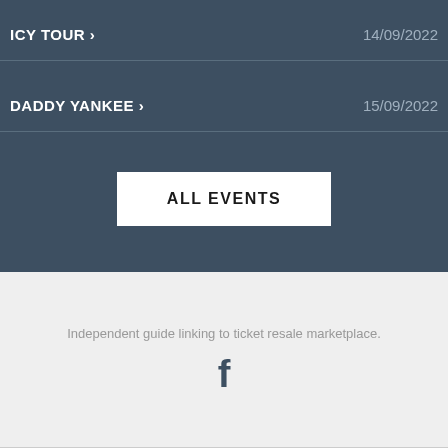ICY TOUR > 14/09/2022
DADDY YANKEE > 15/09/2022
ALL EVENTS
Independent guide linking to ticket resale marketplace.
[Figure (logo): Facebook logo icon]